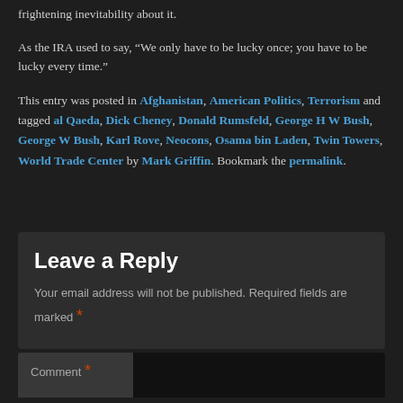frightening inevitability about it.
As the IRA used to say, “We only have to be lucky once; you have to be lucky every time.”
This entry was posted in Afghanistan, American Politics, Terrorism and tagged al Qaeda, Dick Cheney, Donald Rumsfeld, George H W Bush, George W Bush, Karl Rove, Neocons, Osama bin Laden, Twin Towers, World Trade Center by Mark Griffin. Bookmark the permalink.
Leave a Reply
Your email address will not be published. Required fields are marked *
Comment *